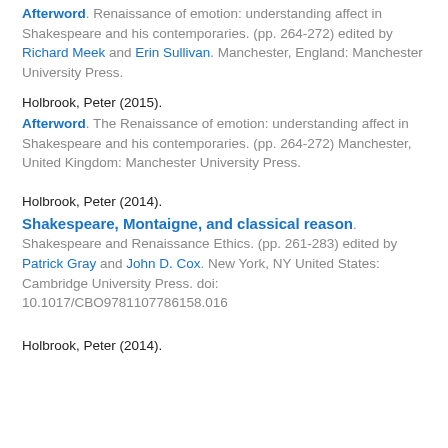[partial top] Afterword. Renaissance of emotion: understanding affect in Shakespeare and his contemporaries. (pp. 264-272) edited by Richard Meek and Erin Sullivan. Manchester, England: Manchester University Press.
Holbrook, Peter (2015).
Afterword. The Renaissance of emotion: understanding affect in Shakespeare and his contemporaries. (pp. 264-272) Manchester, United Kingdom: Manchester University Press.
Holbrook, Peter (2014).
Shakespeare, Montaigne, and classical reason. Shakespeare and Renaissance Ethics. (pp. 261-283) edited by Patrick Gray and John D. Cox. New York, NY United States: Cambridge University Press. doi: 10.1017/CBO9781107786158.016
Holbrook, Peter (2014).